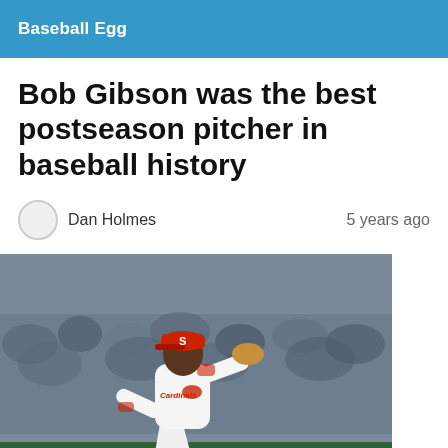Baseball Egg
Bob Gibson was the best postseason pitcher in baseball history
Dan Holmes   5 years ago
[Figure (photo): Bob Gibson, St. Louis Cardinals pitcher in white uniform with red cap, mid-pitching-delivery motion on the mound with a crowd in the background]